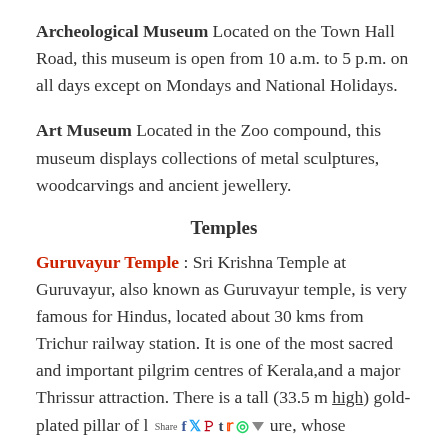Archeological Museum Located on the Town Hall Road, this museum is open from 10 a.m. to 5 p.m. on all days except on Mondays and National Holidays.
Art Museum Located in the Zoo compound, this museum displays collections of metal sculptures, woodcarvings and ancient jewellery.
Temples
Guruvayur Temple : Sri Krishna Temple at Guruvayur, also known as Guruvayur temple, is very famous for Hindus, located about 30 kms from Trichur railway station. It is one of the most sacred and important pilgrim centres of Kerala,and a major Thrissur attraction. There is a tall (33.5 m high) gold-plated pillar of l [Share] ure, whose